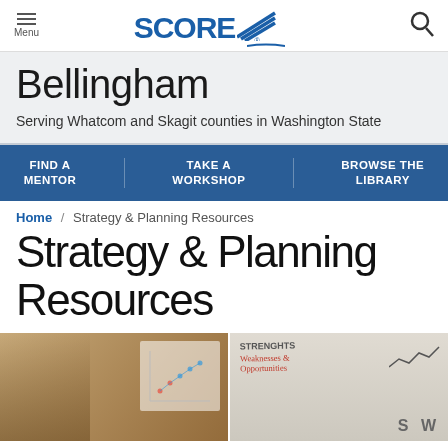Menu | SCORE | [search icon]
Bellingham
Serving Whatcom and Skagit counties in Washington State
FIND A MENTOR | TAKE A WORKSHOP | BROWSE THE LIBRARY
Home / Strategy & Planning Resources
Strategy & Planning Resources
[Figure (photo): A woman presenting at a whiteboard with charts on the left; a whiteboard with STRENGTHS, Weaknesses, Opportunities text and SW grid on the right]